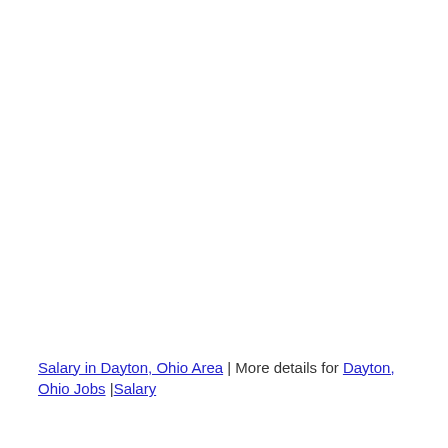Salary in Dayton, Ohio Area | More details for Dayton, Ohio Jobs |Salary